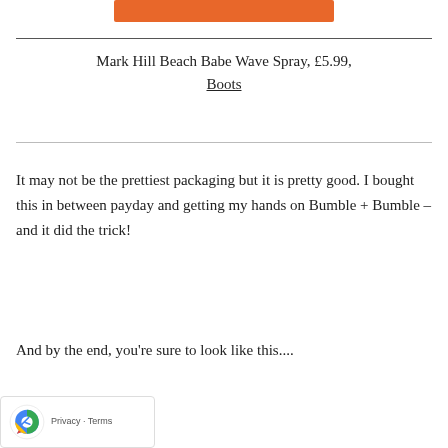[Figure (other): Orange button/bar at top of page]
Mark Hill Beach Babe Wave Spray, £5.99, Boots
It may not be the prettiest packaging but it is pretty good. I bought this in between payday and getting my hands on Bumble + Bumble – and it did the trick!
And by the end, you're sure to look like this....